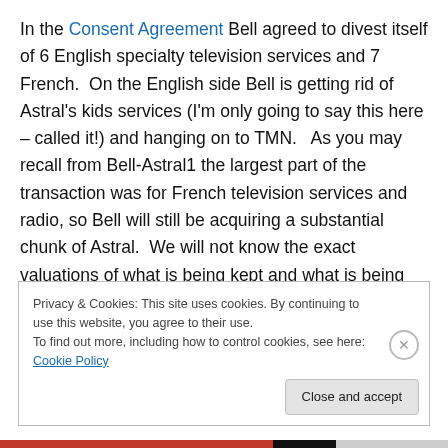In the Consent Agreement Bell agreed to divest itself of 6 English specialty television services and 7 French.  On the English side Bell is getting rid of Astral's kids services (I'm only going to say this here – called it!) and hanging on to TMN.   As you may recall from Bell-Astral1 the largest part of the transaction was for French television services and radio, so Bell will still be acquiring a substantial chunk of Astral.  We will not know the exact valuations of what is being kept and what is being sold until we see the detailed material that will be part of the CRTC Public Notice.
Privacy & Cookies: This site uses cookies. By continuing to use this website, you agree to their use.
To find out more, including how to control cookies, see here: Cookie Policy